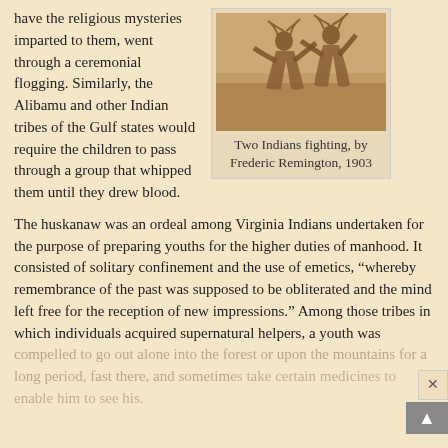have the religious mysteries imparted to them, went through a ceremonial flogging. Similarly, the Alibamu and other Indian tribes of the Gulf states would require the children to pass through a group that whipped them until they drew blood.
[Figure (photo): Sepia-toned photograph or illustration of two Native Americans fighting, by Frederic Remington, 1903]
Two Indians fighting, by Frederic Remington, 1903
The huskanaw was an ordeal among Virginia Indians undertaken for the purpose of preparing youths for the higher duties of manhood. It consisted of solitary confinement and the use of emetics, “whereby remembrance of the past was supposed to be obliterated and the mind left free for the reception of new impressions.” Among those tribes in which individuals acquired supernatural helpers, a youth was compelled to go out alone into the forest or upon the mountains for a long period, fast there, and sometimes take certain medicines to enable him to see his.